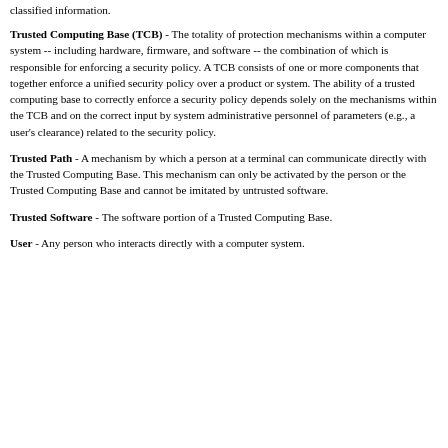classified information.
Trusted Computing Base (TCB) - The totality of protection mechanisms within a computer system -- including hardware, firmware, and software -- the combination of which is responsible for enforcing a security policy. A TCB consists of one or more components that together enforce a unified security policy over a product or system. The ability of a trusted computing base to correctly enforce a security policy depends solely on the mechanisms within the TCB and on the correct input by system administrative personnel of parameters (e.g., a user's clearance) related to the security policy.
Trusted Path - A mechanism by which a person at a terminal can communicate directly with the Trusted Computing Base. This mechanism can only be activated by the person or the Trusted Computing Base and cannot be imitated by untrusted software.
Trusted Software - The software portion of a Trusted Computing Base.
User - Any person who interacts directly with a computer system.